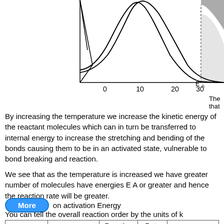[Figure (continuous-plot): Partial view of a Maxwell-Boltzmann energy distribution chart showing two curves and a shaded region near E_A (activation energy) around x=30. X-axis labeled 0, 10, 20, 30. The shaded region represents molecules with energy >= E_A.]
By increasing the temperature we increase the kinetic energy of the reactant molecules which can in turn be transferred to internal energy to increase the stretching and bending of the bonds causing them to be in an activated state, vulnerable to bond breaking and reaction.
We see that as the temperature is increased we have greater number of molecules have energies E A or greater and hence the reaction rate will be greater.
More on activation Energy
You can tell the overall reaction order by the units of k
| C_A | -r_A | Reaction Order | Rate Law | k |
| --- | --- | --- | --- | --- |
| (mol/dm³) | (mol/dm³×s) | zero | -r_A = k | (mol/dm³×s) |